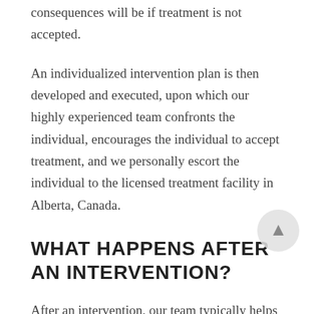consequences will be if treatment is not accepted.
An individualized intervention plan is then developed and executed, upon which our highly experienced team confronts the individual, encourages the individual to accept treatment, and we personally escort the individual to the licensed treatment facility in Alberta, Canada.
WHAT HAPPENS AFTER AN INTERVENTION?
After an intervention, our team typically helps refer and escort the individual to an appropriate treatment facility where